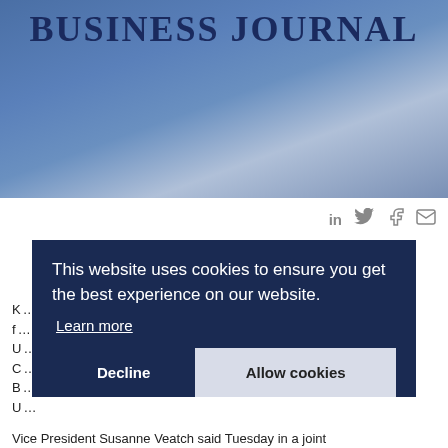[Figure (logo): Business Journal logo on blue gradient background]
[Figure (infographic): Social share icons: LinkedIn, Twitter, Facebook, Email]
K... f... U... C... B... U...
This website uses cookies to ensure you get the best experience on our website. Learn more
Decline   Allow cookies
Vice President Susanne Veatch said Tuesday in a joint